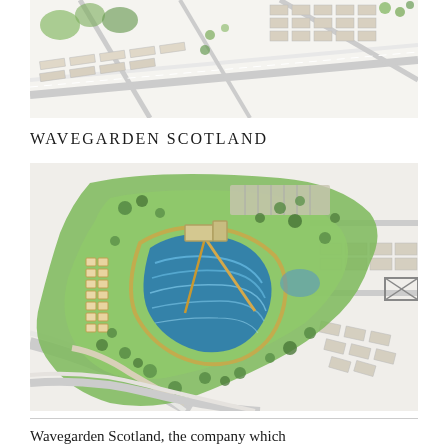[Figure (illustration): Aerial/plan view architectural drawing of a development site with residential streets, roads, and green areas visible from above, rendered in pencil/watercolor style]
WAVEGARDEN SCOTLAND
[Figure (illustration): Aerial plan/masterplan illustration of Wavegarden Scotland showing a large wave pool lagoon surrounded by green landscaped grounds, car parking, pathways, and adjacent residential streets, rendered in watercolor style]
Wavegarden Scotland, the company which